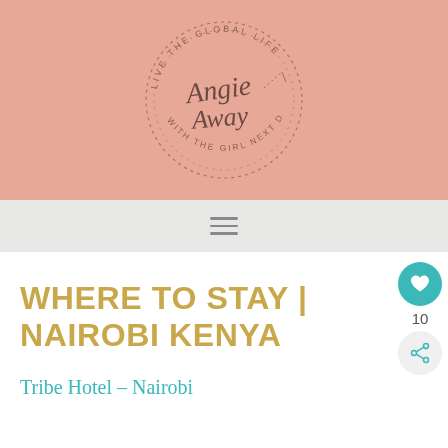[Figure (logo): Angie Away blog logo — circular badge with cursive 'Angie Away' script, text 'LIVE THE GLOBAL LIFE' and 'WITH THE GIRL NEXT DOOR' around the circle, on a salmon/peach background]
[Figure (other): Navigation bar with hamburger menu icon (three horizontal lines)]
WHERE TO STAY | NAIROBI KENYA
Tribe Hotel – Nairobi